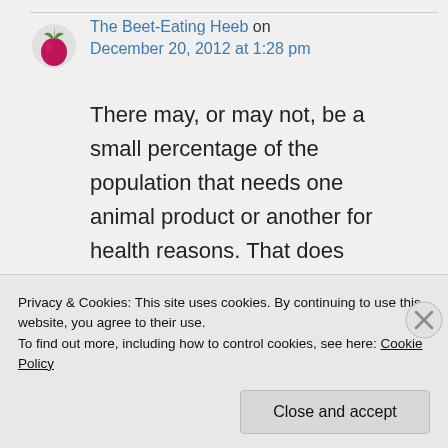[Figure (illustration): Small circular avatar image of a beet (red/magenta vegetable illustration) used as commenter profile picture]
The Beet-Eating Heeb on December 20, 2012 at 1:28 pm
There may, or may not, be a small percentage of the population that needs one animal product or another for health reasons. That does not excuse or explain the cruel confinement, hideous
Privacy & Cookies: This site uses cookies. By continuing to use this website, you agree to their use.
To find out more, including how to control cookies, see here: Cookie Policy
Close and accept